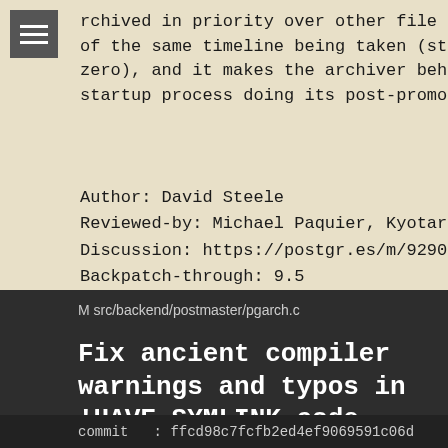rchived in priority over other file typ
of the same timeline being taken (still
zero), and it makes the archiver behave
startup process doing its post-promotion
Author: David Steele
Reviewed-by: Michael Paquier, Kyotaro Ho
Discussion: https://postgr.es/m/929068cf
Backpatch-through: 9.5
M src/backend/postmaster/pgarch.c
Fix ancient compiler warnings and typos in !HAVE_SYMLINK code
commit   : ffcd98c7fcfb2ed4ef9069591c06d